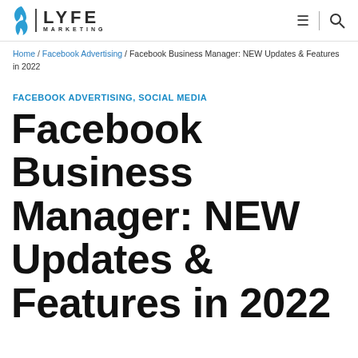LYFE MARKETING
Home / Facebook Advertising / Facebook Business Manager: NEW Updates & Features in 2022
FACEBOOK ADVERTISING, SOCIAL MEDIA
Facebook Business Manager: NEW Updates & Features in 2022